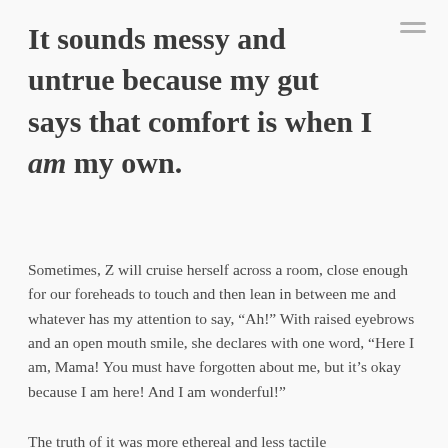It sounds messy and untrue because my gut says that comfort is when I am my own.
Sometimes, Z will cruise herself across a room, close enough for our foreheads to touch and then lean in between me and whatever has my attention to say, “Ah!” With raised eyebrows and an open mouth smile, she declares with one word, “Here I am, Mama! You must have forgotten about me, but it’s okay because I am here! And I am wonderful!”
The truth of it was more ethereal and less tactile